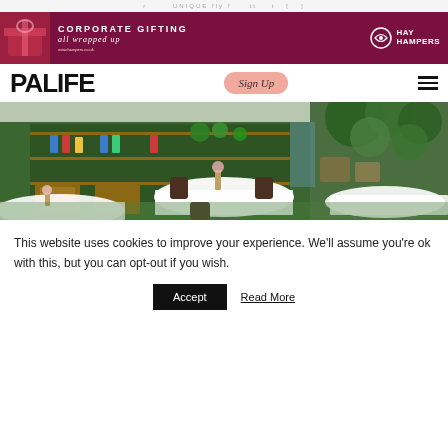... UNIQUE fly f ... t [ ]
[Figure (photo): Corporate Gifting advertisement banner for Hay Hampers. Dark maroon/burgundy background. Text reads: CORPORATE GIFTING all wrapped up, with Hay Hampers logo on right.]
[Figure (logo): PALIFE logo in large bold black sans-serif text, with a pink rounded 'Sign Up' button and hamburger menu icon on the right.]
[Figure (photo): Interior photo of a restaurant with white-clothed tables, wicker chairs, green shelving with plants and products, lush greenery on right side. Garden-style casual dining setting.]
This website uses cookies to improve your experience. We'll assume you're ok with this, but you can opt-out if you wish.
Accept  Read More